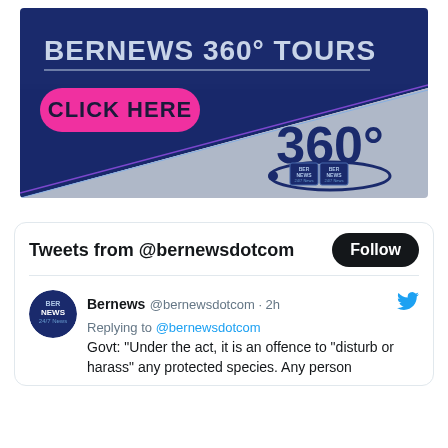[Figure (screenshot): Bernews 360° Tours advertisement banner. Dark navy blue background on upper-left with bold white text 'BERNEWS 360° TOURS' and a pink/magenta rounded-rectangle button reading 'CLICK HERE'. Lower-right is light gray with large dark blue '360°' text and an orbit ring graphic, plus two small BerNews 24/7 News logo tiles.]
[Figure (screenshot): Twitter/X widget card showing 'Tweets from @bernewsdotcom' header with a Follow button. Below is a tweet from Bernews @bernewsdotcom 2h ago, replying to @bernewsdotcom: Govt: "Under the act, it is an offence to "disturb or harass" any protected species. Any person]